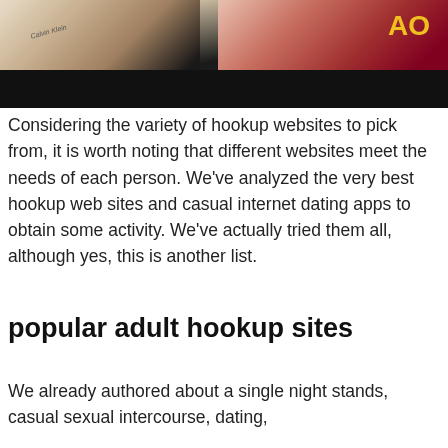[Figure (photo): Two people close together; person on left wearing Calvin Klein clothing, person on right in red top with yellow lettering; dark bar across lower portion of image]
Considering the variety of hookup websites to pick from, it is worth noting that different websites meet the needs of each person. We've analyzed the very best hookup web sites and casual internet dating apps to obtain some activity. We've actually tried them all, although yes, this is another list.
popular adult hookup sites
We already authored about a single night stands, casual sexual intercourse, dating,